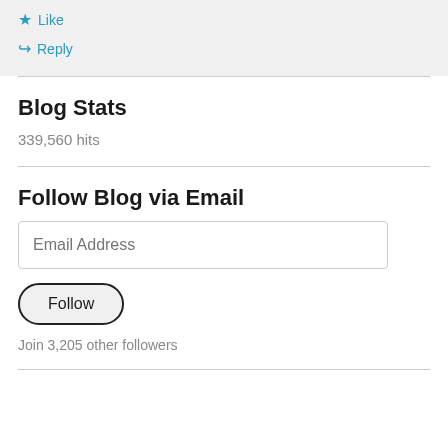[Figure (screenshot): Comment action bar with Like (star icon) and Reply (arrow icon) buttons on a light grey background]
Blog Stats
339,560 hits
Follow Blog via Email
Email Address
Follow
Join 3,205 other followers